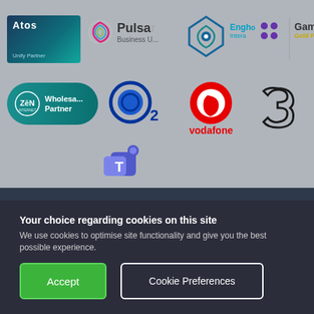[Figure (logo): Partner logos section showing: Atos Unify Partner, Pulsar Business (with colorful swirl icon), an eye-shaped blue logo, Enghouse Interactive (with purple dots), Gamma Gold Partner (partially visible), Zen Wholesale Partner (teal pill logo), O2 (blue circle logo), Vodafone (red circle logo), Three (stylized 3 logo), and Microsoft Teams logo]
Your choice regarding cookies on this site
We use cookies to optimise site functionality and give you the best possible experience.
Accept
Cookie Preferences